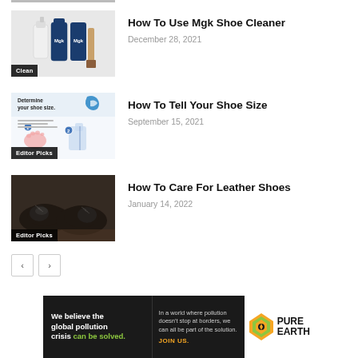[Figure (photo): Top partial image strip, cropped photo]
[Figure (photo): MGK shoe cleaner product bottles with brush, badge: Clean]
How To Use Mgk Shoe Cleaner
December 28, 2021
[Figure (illustration): Shoe size determination infographic with footprint diagrams, badge: Editor Picks]
How To Tell Your Shoe Size
September 15, 2021
[Figure (photo): Black leather oxford shoes on wooden surface, badge: Editor Picks]
How To Care For Leather Shoes
January 14, 2022
< >
[Figure (infographic): Pure Earth ad banner: We believe the global pollution crisis can be solved. In a world where pollution doesn't stop at borders, we can all be part of the solution. JOIN US.]